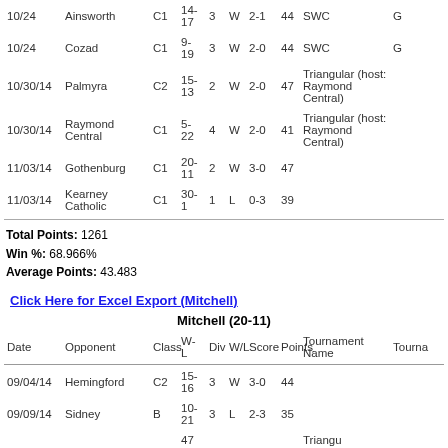| Date | Opponent | Class | W-L | Div | W/L | Score | Points | Tournament Name | Tournament |
| --- | --- | --- | --- | --- | --- | --- | --- | --- | --- |
| 10/24 | Ainsworth | C1 | 14-17 | 3 | W | 2-1 | 44 | SWC | G |
| 10/24 | Cozad | C1 | 9-19 | 3 | W | 2-0 | 44 | SWC | G |
| 10/30/14 | Palmyra | C2 | 15-13 | 2 | W | 2-0 | 47 | Triangular (host: Raymond Central) |  |
| 10/30/14 | Raymond Central | C1 | 5-22 | 4 | W | 2-0 | 41 | Triangular (host: Raymond Central) |  |
| 11/03/14 | Gothenburg | C1 | 20-11 | 2 | W | 3-0 | 47 |  |  |
| 11/03/14 | Kearney Catholic | C1 | 30-1 | 1 | L | 0-3 | 39 |  |  |
Total Points: 1261
Win %: 68.966%
Average Points: 43.483
Click Here for Excel Export (Mitchell)
Mitchell (20-11)
| Date | Opponent | Class | W-L | Div | W/L | Score | Points | Tournament Name | Tournament |
| --- | --- | --- | --- | --- | --- | --- | --- | --- | --- |
| 09/04/14 | Hemingford | C2 | 15-16 | 3 | W | 3-0 | 44 |  |  |
| 09/09/14 | Sidney | B | 10-21 | 3 | L | 2-3 | 35 |  |  |